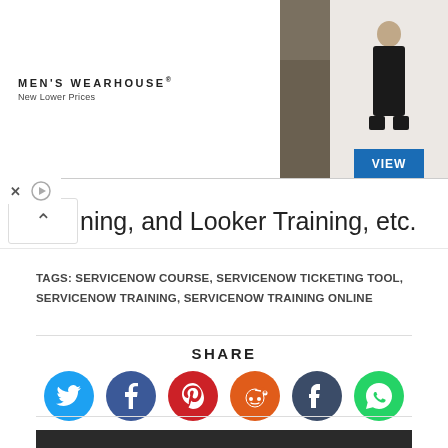[Figure (photo): Men's Wearhouse advertisement banner showing a couple in formal wedding attire and a solo male model in a suit, with a VIEW button]
ing, and Looker Training, etc.
TAGS: SERVICENOW COURSE, SERVICENOW TICKETING TOOL, SERVICENOW TRAINING, SERVICENOW TRAINING ONLINE
SHARE
[Figure (infographic): Social share icons: Twitter (blue), Facebook (dark blue), Pinterest (red), Reddit (orange), Tumblr (dark blue-grey), WhatsApp (green)]
YOU MIGHT ALSO LIKE
[Figure (photo): Dark partial image at the bottom, part of a 'You Might Also Like' recommendation section]